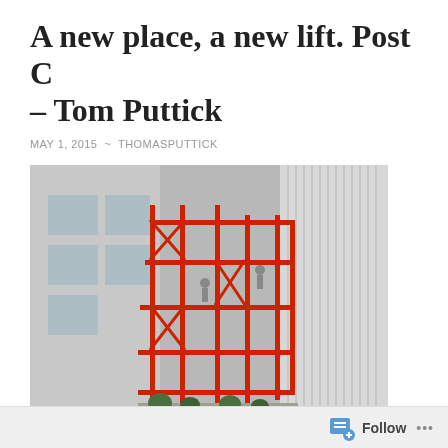A new place, a new lift. Post C – Tom Puttick
MAY 1, 2015 ~ THOMASPUTTICK
[Figure (photo): Photograph of red scaffolding structure in an urban courtyard between buildings. Several workers are visible on the scaffolding. White corrugated wall on right side, multi-story building with windows on left. Green plants visible at ground level.]
(Art1 New Museum 2013)
Follow ...